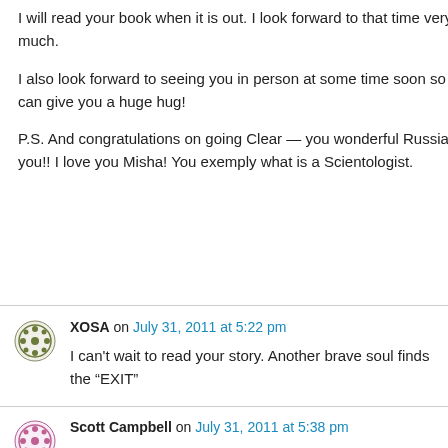I will read your book when it is out. I look forward to that time very much.
I also look forward to seeing you in person at some time soon so I can give you a huge hug!
P.S. And congratulations on going Clear — you wonderful Russian you!! I love you Misha! You exemply what is a Scientologist.
XOSA on July 31, 2011 at 5:22 pm
I can't wait to read your story. Another brave soul finds the "EXIT"
Scott Campbell on July 31, 2011 at 5:38 pm